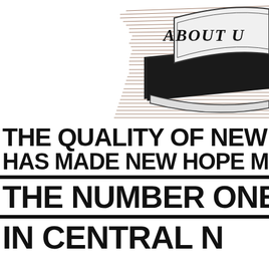[Figure (illustration): Decorative banner/ribbon graphic with horizontal speed lines and a scroll/badge shape reading 'ABOUT U' (text cropped at right edge). The banner has a vintage/retro style with a dark trapezoidal base and a curved white ribbon with serif lettering.]
THE QUALITY OF NEW HOPE M HAS MADE NEW HOPE MILLS THE NUMBER ONE PAN IN CENTRAL N